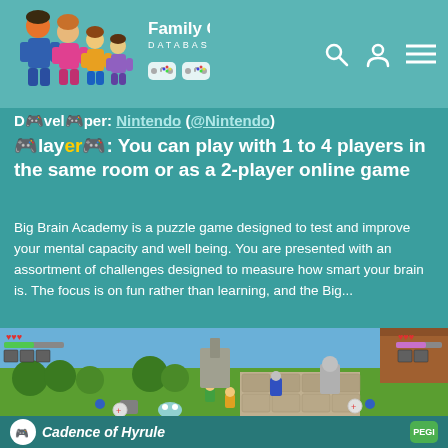Family Gaming Database
Developer: Nintendo (@Nintendo)
Players: You can play with 1 to 4 players in the same room or as a 2-player online game
Big Brain Academy is a puzzle game designed to test and improve your mental capacity and well being. You are presented with an assortment of challenges designed to measure how smart your brain is. The focus is on fun rather than learning, and the Big...
[Figure (screenshot): Top-down 2D game screenshot showing a green landscape with characters, trees, statues, and HUD elements including hearts and inventory]
Cadence of Hyrule